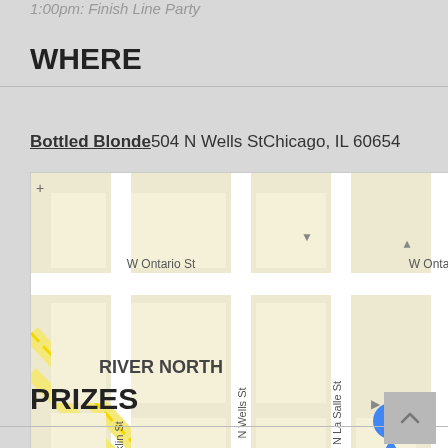1:00pm: Finish Line Party
WHERE
Bottled Blonde 504 N Wells St Chicago, IL 60654
[Figure (map): Google Maps screenshot showing River North neighborhood in Chicago, IL. Shows N Wells St, N La Salle St, N Franklin St, W Ontario St, W Kinzie St, Merchandise Mart area. Map markers visible including orange restaurant pin (Beatrix), blue shopping pin, blue transit M marker, green location pin, and teal crown pin.]
PRIZES